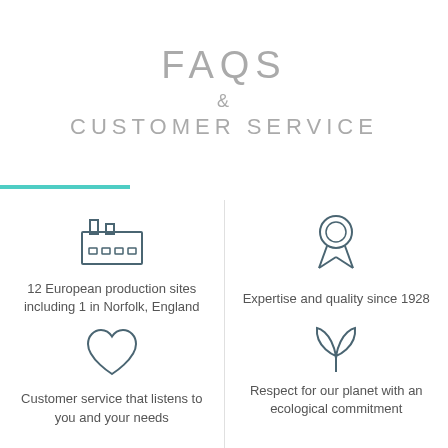FAQS & CUSTOMER SERVICE
[Figure (illustration): Factory/production site icon (line art)]
12 European production sites including 1 in Norfolk, England
[Figure (illustration): Heart icon (line art)]
Customer service that listens to you and your needs
[Figure (illustration): Award/ribbon medal icon (line art)]
Expertise and quality since 1928
[Figure (illustration): Leaf/plant ecology icon (line art)]
Respect for our planet with an ecological commitment